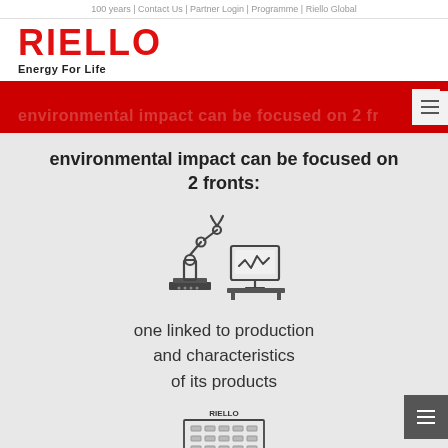100 years | Contact Us | Partner Login | Programme | Riello Global
[Figure (logo): RIELLO logo in red with tagline Energy For Life]
environmental impact can be focused on 2 fronts:
[Figure (illustration): Industrial robot arm with monitor/screen icon]
one linked to production and characteristics of its products
[Figure (illustration): Building/factory icon with RIELLO label]